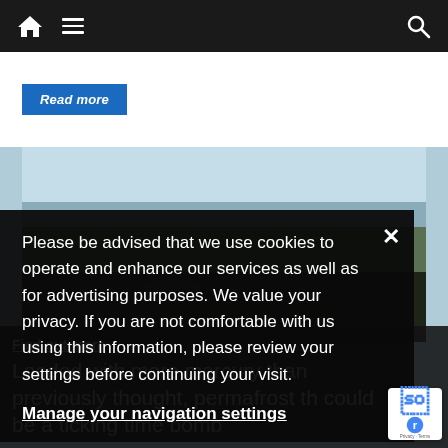Navigation bar with home, menu, and search icons
Read more
[Figure (photo): Aerial or ground-level view of permafrost terrain, dark tundra landscape with ice patterns and frozen ground.]
Please be advised that we use cookies to operate and enhance our services as well as for advertising purposes. We value your privacy. If you are not comfortable with us using this information, please review your settings before continuing your visit.

Manage your navigation settings
Find out more
Loaded with more mercury than previously thought, permafrost th could be a ticking time bomb